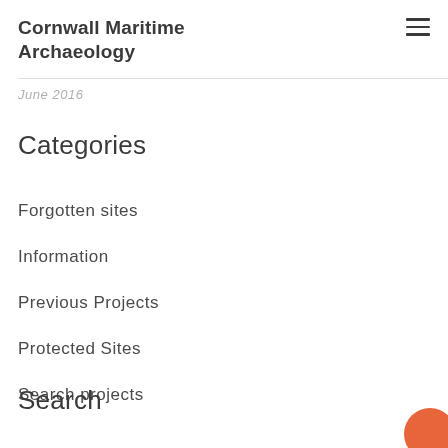Cornwall Maritime Archaeology
June 2016
Categories
Forgotten sites
Information
Previous Projects
Protected Sites
Search projects
Search